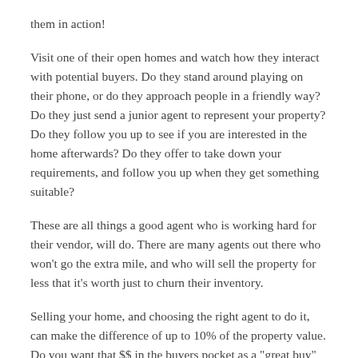them in action!
Visit one of their open homes and watch how they interact with potential buyers. Do they stand around playing on their phone, or do they approach people in a friendly way? Do they just send a junior agent to represent your property? Do they follow you up to see if you are interested in the home afterwards? Do they offer to take down your requirements, and follow you up when they get something suitable?
These are all things a good agent who is working hard for their vendor, will do. There are many agents out there who won't go the extra mile, and who will sell the property for less that it's worth just to churn their inventory.
Selling your home, and choosing the right agent to do it, can make the difference of up to 10% of the property value. Do you want that $$ in the buyers pocket as a "great buy" or in your own pocket, as a seller?
"Secret shopping" and agent is one of the ways of separating the wheat from the chaff and finding a really good agent who is going to get you top dollar for your home.